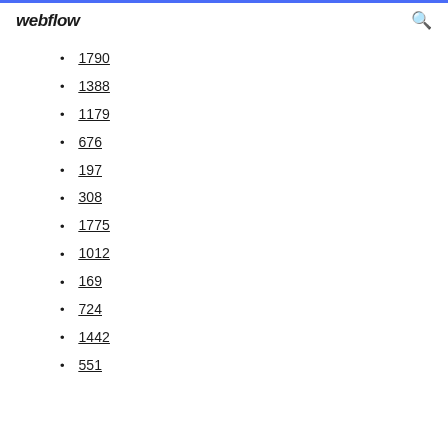webflow
1790
1388
1179
676
197
308
1775
1012
169
724
1442
551